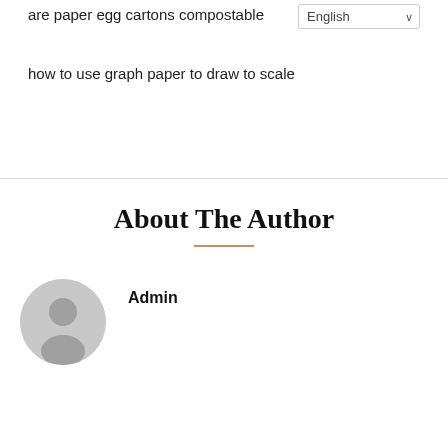are paper egg cartons compostable
English
how to use graph paper to draw to scale
About The Author
[Figure (illustration): Generic user avatar icon — grey circle with silhouette of a person (head and shoulders)]
Admin